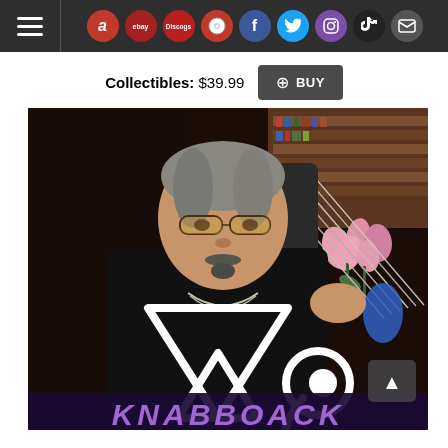Navigation bar with hamburger menu and social/shopping icons: Amazon, eBay, Discogs, LP, Facebook, Twitter, Instagram, TikTok, Email
Collectibles: $39.99  + BUY
[Figure (photo): A man with glasses, gray-streaked hair, wearing a black outfit and chain necklace, holding a multi-string guitar. In the background are bookshelves and pink flowers. The VAI logo (triangle with eye symbol) is overlaid in white at the bottom.]
KNABBOACK